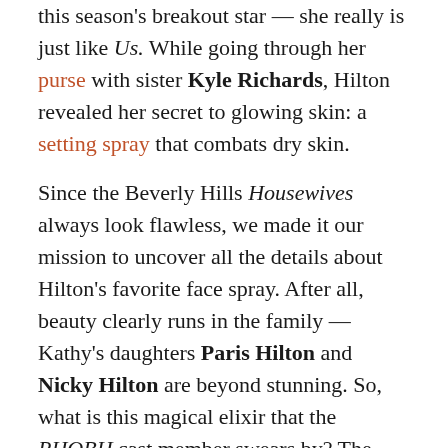this season's breakout star — she really is just like Us. While going through her purse with sister Kyle Richards, Hilton revealed her secret to glowing skin: a setting spray that combats dry skin.
Since the Beverly Hills Housewives always look flawless, we made it our mission to uncover all the details about Hilton's favorite face spray. After all, beauty clearly runs in the family — Kathy's daughters Paris Hilton and Nicky Hilton are beyond stunning. So, what is this magical elixir that the RHOBH cast member swears by? The Tatcha Luminous Dewy Skin Mist is a silky, fast-absorbing spray-on moisturizer that delivers a boost of hydration to your complexion. Spray the mist under or over makeup for instantly glowing skin.